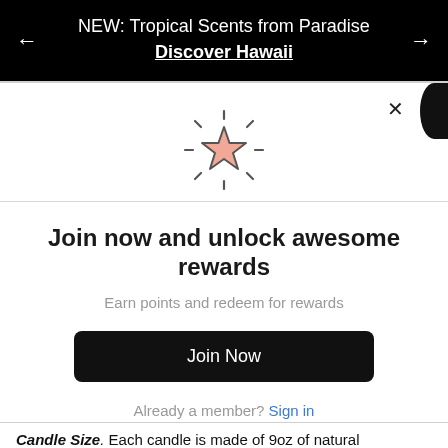NEW: Tropical Scents from Paradise
Discover Hawaii
[Figure (illustration): A star icon with radiating dashes around it, star filled with a salmon/pink-orange color and a dark outline, on white background]
Join now and unlock awesome rewards
Earn points and redeem for rewards
Join Now
Already a member? Sign in
Candle Size. Each candle is made of 9oz of natural